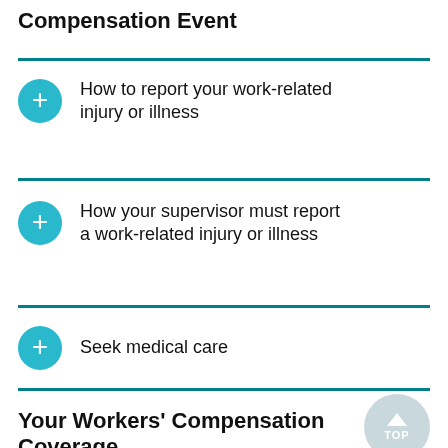Compensation Event
How to report your work-related injury or illness
How your supervisor must report a work-related injury or illness
Seek medical care
Your Workers' Compensation Coverage